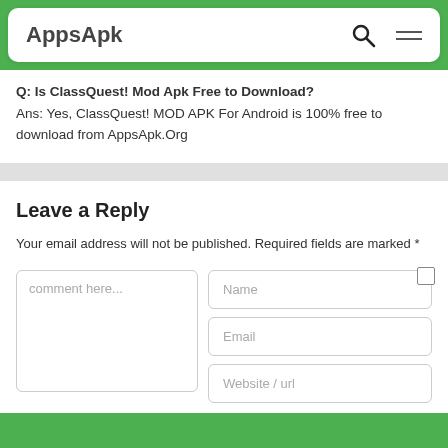AppsApk
Q: Is ClassQuest! Mod Apk Free to Download?
Ans: Yes, ClassQuest! MOD APK For Android is 100% free to download from AppsApk.Org
Leave a Reply
Your email address will not be published. Required fields are marked *
comment here...
Name
Email
Website / url